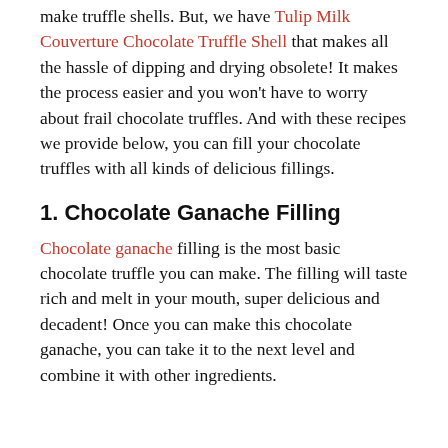make truffle shells. But, we have Tulip Milk Couverture Chocolate Truffle Shell that makes all the hassle of dipping and drying obsolete! It makes the process easier and you won't have to worry about frail chocolate truffles. And with these recipes we provide below, you can fill your chocolate truffles with all kinds of delicious fillings.
1. Chocolate Ganache Filling
Chocolate ganache filling is the most basic chocolate truffle you can make. The filling will taste rich and melt in your mouth, super delicious and decadent! Once you can make this chocolate ganache, you can take it to the next level and combine it with other ingredients.